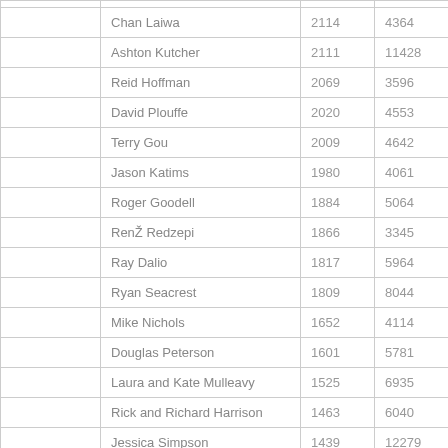|  | Name | Col3 | Col4 |
| --- | --- | --- | --- |
|  | Chan Laiwa | 2114 | 4364 |
|  | Ashton Kutcher | 2111 | 11428 |
|  | Reid Hoffman | 2069 | 3596 |
|  | David Plouffe | 2020 | 4553 |
|  | Terry Gou | 2009 | 4642 |
|  | Jason Katims | 1980 | 4061 |
|  | Roger Goodell | 1884 | 5064 |
|  | RenŽ Redzepi | 1866 | 3345 |
|  | Ray Dalio | 1817 | 5964 |
|  | Ryan Seacrest | 1809 | 8044 |
|  | Mike Nichols | 1652 | 4114 |
|  | Douglas Peterson | 1601 | 5781 |
|  | Laura and Kate Mulleavy | 1525 | 6935 |
|  | Rick and Richard Harrison | 1463 | 6040 |
|  | Jessica Simpson | 1439 | 12279 |
|  | Graydon Sheppard | 1379 | 5963 |